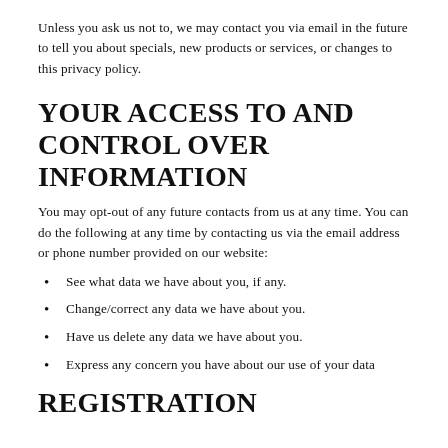Unless you ask us not to, we may contact you via email in the future to tell you about specials, new products or services, or changes to this privacy policy.
YOUR ACCESS TO AND CONTROL OVER INFORMATION
You may opt-out of any future contacts from us at any time. You can do the following at any time by contacting us via the email address or phone number provided on our website:
See what data we have about you, if any.
Change/correct any data we have about you.
Have us delete any data we have about you.
Express any concern you have about our use of your data
REGISTRATION